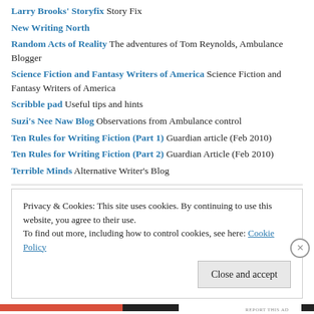Larry Brooks' Storyfix Story Fix
New Writing North
Random Acts of Reality The adventures of Tom Reynolds, Ambulance Blogger
Science Fiction and Fantasy Writers of America Science Fiction and Fantasy Writers of America
Scribble pad Useful tips and hints
Suzi's Nee Naw Blog Observations from Ambulance control
Ten Rules for Writing Fiction (Part 1) Guardian article (Feb 2010)
Ten Rules for Writing Fiction (Part 2) Guardian Article (Feb 2010)
Terrible Minds Alternative Writer's Blog
Privacy & Cookies: This site uses cookies. By continuing to use this website, you agree to their use. To find out more, including how to control cookies, see here: Cookie Policy
Close and accept